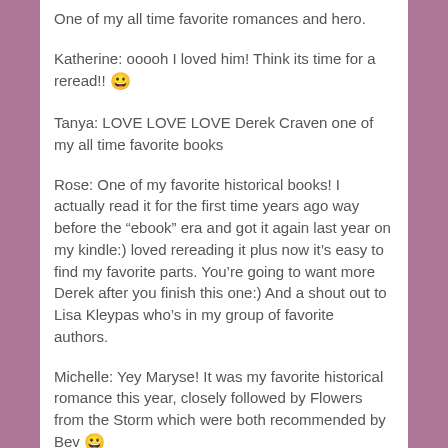One of my all time favorite romances and hero.
Katherine: ooooh I loved him! Think its time for a reread!! 😀
Tanya: LOVE LOVE LOVE Derek Craven one of my all time favorite books
Rose: One of my favorite historical books! I actually read it for the first time years ago way before the “ebook” era and got it again last year on my kindle:) loved rereading it plus now it’s easy to find my favorite parts. You’re going to want more Derek after you finish this one:) And a shout out to Lisa Kleypas who’s in my group of favorite authors.
Michelle: Yey Maryse! It was my favorite historical romance this year, closely followed by Flowers from the Storm which were both recommended by Bev 😀